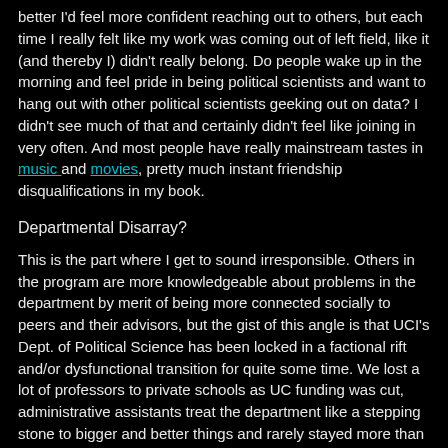better I'd feel more confident reaching out to others, but each time I really felt like my work was coming out of left field, like it (and thereby I) didn't really belong. Do people wake up in the morning and feel pride in being political scientists and want to hang out with other political scientists geeking out on data? I didn't see much of that and certainly didn't feel like joining in very often. And most people have really mainstream tastes in music and movies, pretty much instant friendship disqualifications in my book.
Departmental Disarray?
This is the part where I get to sound irresponsible. Others in the program are more knowledgeable about problems in the department by merit of being more connected socially to peers and their advisors, but the gist of this angle is that UCI's Dept. of Political Science has been locked in a factional rift and/or dysfunctional transition for quite some time. We lost a lot of professors to private schools as UC funding was cut, administrative assistants treat the department like a stepping stone to bigger and better things and rarely stayed more than a year. TA positions (I.e. funding for those in good standing) are under pressure of declining enrollment in undergrad classes. Subfields of American Politics and Political Theory seemed like the stable ones, while mine of Comparative Politics and International Relations were in flux, and